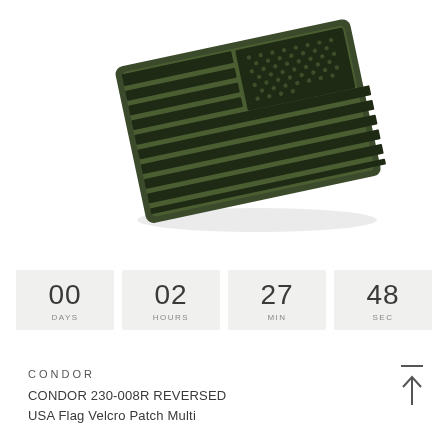[Figure (photo): Olive drab and black embroidered reversed USA flag velcro patch, photographed at an angle on white background]
00 DAYS   02 HOURS   27 MIN   48 SEC
CONDOR
CONDOR 230-008R REVERSED USA Flag Velcro Patch Multi